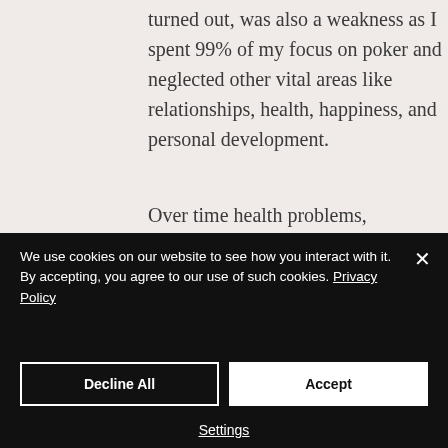turned out, was also a weakness as I spent 99% of my focus on poker and neglected other vital areas like relationships, health, happiness, and personal development.
Over time health problems, emotional suppression, and a lack of genuine human connections accumulated into
We use cookies on our website to see how you interact with it. By accepting, you agree to our use of such cookies. Privacy Policy
Decline All
Accept
Settings